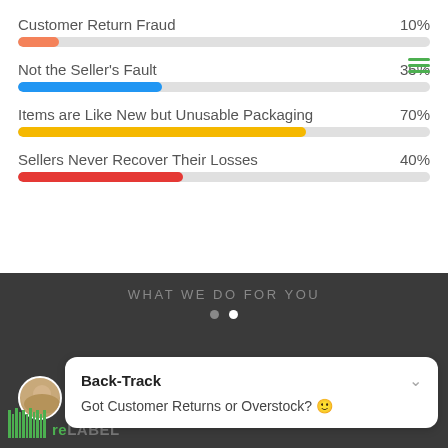[Figure (bar-chart): Statistics bar chart]
WHAT WE DO FOR YOU
Back-Track
Got Customer Returns or Overstock? 😊